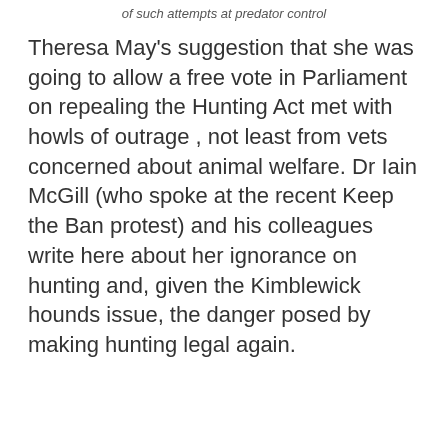of such attempts at predator control
Theresa May's suggestion that she was going to allow a free vote in Parliament on repealing the Hunting Act met with howls of outrage , not least from vets concerned about animal welfare. Dr Iain McGill (who spoke at the recent Keep the Ban protest) and his colleagues write here about her ignorance on hunting and, given the Kimblewick hounds issue, the danger posed by making hunting legal again.